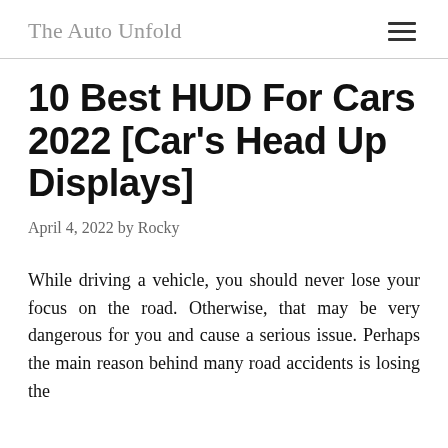The Auto Unfold
10 Best HUD For Cars 2022 [Car's Head Up Displays]
April 4, 2022 by Rocky
While driving a vehicle, you should never lose your focus on the road. Otherwise, that may be very dangerous for you and cause a serious issue. Perhaps the main reason behind many road accidents is losing the